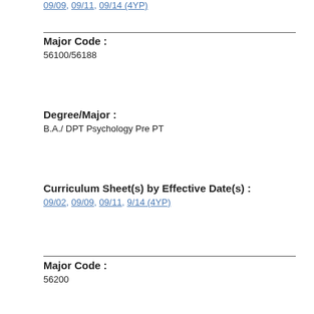09/09, 09/11, 09/14 (4YP)
Major Code : 56100/56188
Degree/Major : B.A./ DPT Psychology Pre PT
Curriculum Sheet(s) by Effective Date(s) : 09/02, 09/09, 09/11, 9/14 (4YP)
Major Code : 56200